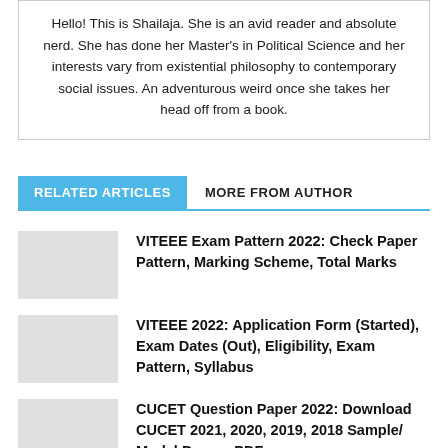Hello! This is Shailaja. She is an avid reader and absolute nerd. She has done her Master's in Political Science and her interests vary from existential philosophy to contemporary social issues. An adventurous weird once she takes her head off from a book.
RELATED ARTICLES   MORE FROM AUTHOR
VITEEE Exam Pattern 2022: Check Paper Pattern, Marking Scheme, Total Marks
VITEEE 2022: Application Form (Started), Exam Dates (Out), Eligibility, Exam Pattern, Syllabus
CUCET Question Paper 2022: Download CUCET 2021, 2020, 2019, 2018 Sample/ Model Papers PDF